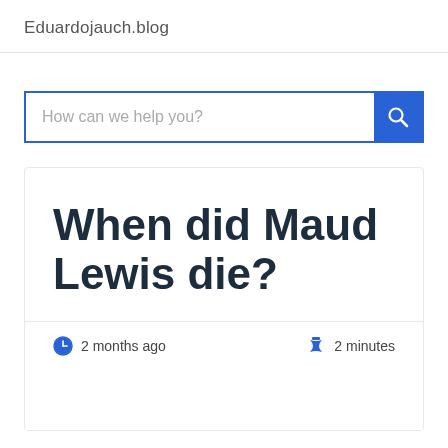Eduardojauch.blog
How can we help you?
When did Maud Lewis die?
2 months ago
2 minutes